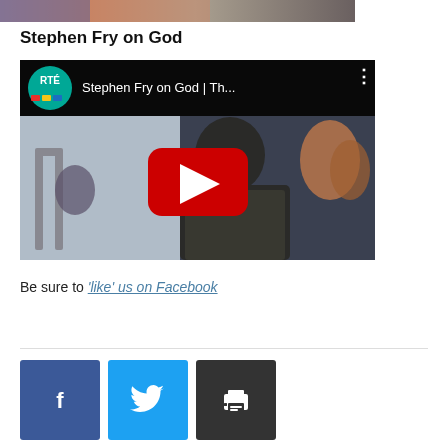[Figure (photo): Partial cropped image at top of page, appears to show people]
Stephen Fry on God
[Figure (screenshot): YouTube video thumbnail: RTÉ channel video titled 'Stephen Fry on God | Th...' showing Stephen Fry seated, with red play button overlay]
Be sure to 'like' us on Facebook
[Figure (other): Social share buttons: Facebook (blue), Twitter (cyan), Print (dark gray)]